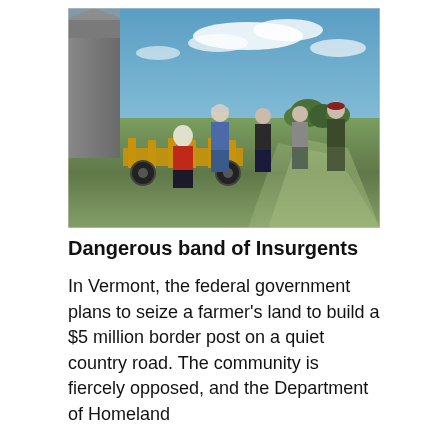[Figure (photo): Five people standing outdoors on a farm with farm equipment, green fields, blue sky, and a barn on the left side.]
Dangerous band of Insurgents
In Vermont, the federal government plans to seize a farmer's land to build a $5 million border post on a quiet country road. The community is fiercely opposed, and the Department of Homeland